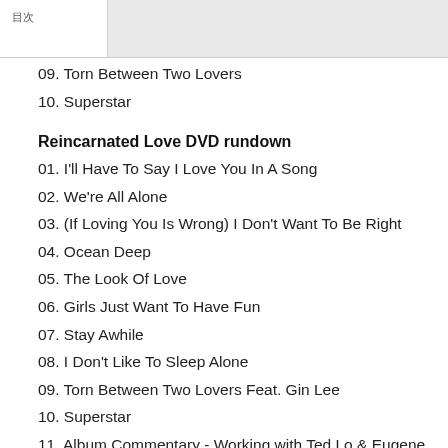목차
09. Torn Between Two Lovers
10. Superstar
Reincarnated Love DVD rundown
01. I'll Have To Say I Love You In A Song
02. We're All Alone
03. (If Loving You Is Wrong) I Don't Want To Be Right
04. Ocean Deep
05. The Look Of Love
06. Girls Just Want To Have Fun
07. Stay Awhile
08. I Don't Like To Sleep Alone
09. Torn Between Two Lovers Feat. Gin Lee
10. Superstar
11. Album Commentary - Working with Ted Lo & Eugene Pao
12. Album Commentary - Introducing Gin Lee, Damon Lau & Barry C